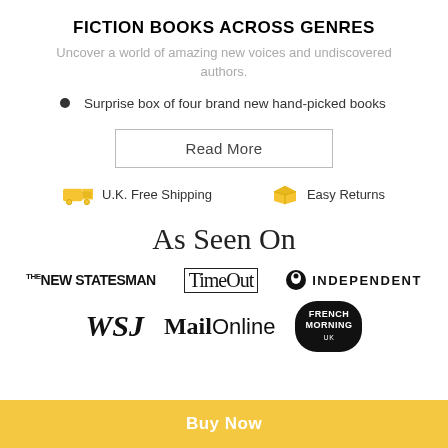FICTION BOOKS ACROSS GENRES
Uncover a world of amazing new voices and undiscovered authors.
Surprise box of four brand new hand-picked books
Read More
U.K. Free Shipping
Easy Returns
As Seen On
[Figure (logo): The New Statesman logo]
[Figure (logo): Time Out logo]
[Figure (logo): Independent logo with bird icon]
[Figure (logo): WSJ logo]
[Figure (logo): Mail Online logo]
[Figure (logo): French Morning logo]
Buy Now